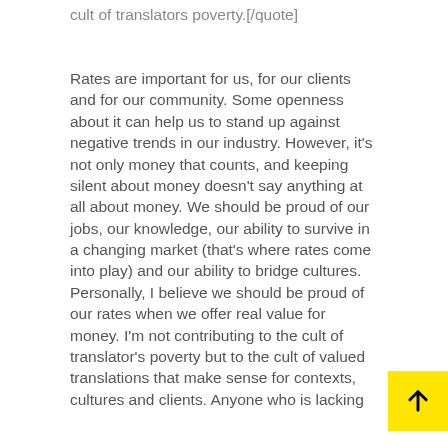cult of translators poverty.[/quote]
Rates are important for us, for our clients and for our community. Some openness about it can help us to stand up against negative trends in our industry. However, it’s not only money that counts, and keeping silent about money doesn’t say anything at all about money. We should be proud of our jobs, our knowledge, our ability to survive in a changing market (that’s where rates come into play) and our ability to bridge cultures. Personally, I believe we should be proud of our rates when we offer real value for money. I’m not contributing to the cult of translator’s poverty but to the cult of valued translations that make sense for contexts, cultures and clients. Anyone who is lacking